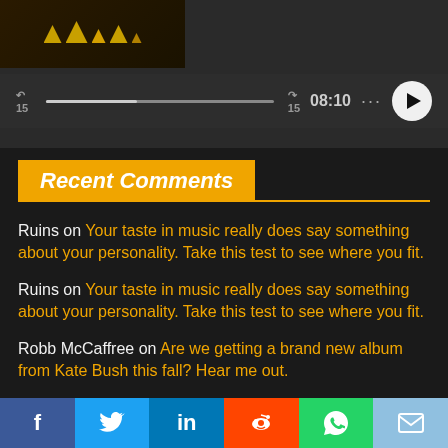[Figure (screenshot): Mobile app media player with hamburger menu icon, album art thumbnail, playback controls including rewind 15s, progress bar, forward 15s, timestamp 08:10, options dots, and play button]
Recent Comments
Ruins on Your taste in music really does say something about your personality. Take this test to see where you fit.
Ruins on Your taste in music really does say something about your personality. Take this test to see where you fit.
Robb McCaffree on Are we getting a brand new album from Kate Bush this fall? Hear me out.
Julian on Here's what it means if the code 0010110 shows up
[Figure (screenshot): Social sharing bar with Facebook, Twitter, LinkedIn, Reddit, WhatsApp, and email icons]